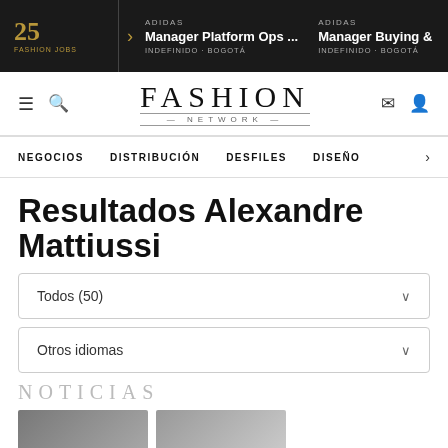25 FASHION JOBS | ADIDAS Manager Platform Ops ... INDEFINIDO - BOGOTÁ | ADIDAS Manager Buying & INDEFINIDO - BOGOTÁ
[Figure (logo): Fashion Network logo with navigation icons]
NEGOCIOS   DISTRIBUCIÓN   DESFILES   DISEÑO   >
Resultados Alexandre Mattiussi
Todos (50)
Otros idiomas
NOTICIAS